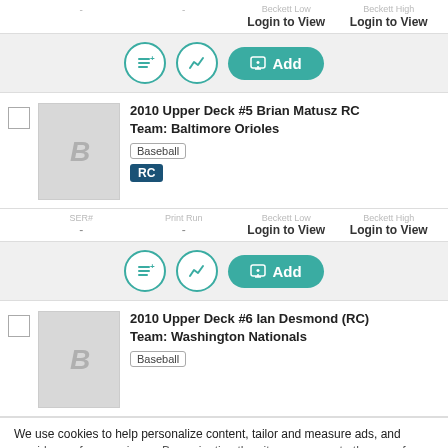| SER# | Print Run | Beckett Low | Beckett High |
| --- | --- | --- | --- |
| - | - | Login to View | Login to View |
Add (action bar)
2010 Upper Deck #5 Brian Matusz RC
Team: Baltimore Orioles
Baseball | RC
| SER# | Print Run | Beckett Low | Beckett High |
| --- | --- | --- | --- |
| - | - | Login to View | Login to View |
Add (action bar)
2010 Upper Deck #6 Ian Desmond (RC)
Team: Washington Nationals
Baseball
We use cookies to help personalize content, tailor and measure ads, and provide a safer experience. By navigating the site, you agree to the use of cookies to collect information on and off Beckett. Learn more.
Get Beckett on your mobile device.
Install App